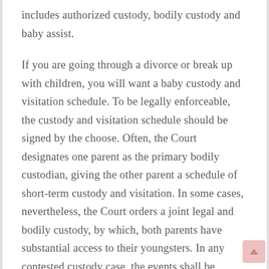includes authorized custody, bodily custody and baby assist.
If you are going through a divorce or break up with children, you will want a baby custody and visitation schedule. To be legally enforceable, the custody and visitation schedule should be signed by the choose. Often, the Court designates one parent as the primary bodily custodian, giving the other parent a schedule of short-term custody and visitation. In some cases, nevertheless, the Court orders a joint legal and bodily custody, by which, both parents have substantial access to their youngsters. In any contested custody case, the events shall be required to attend mediation on the Family